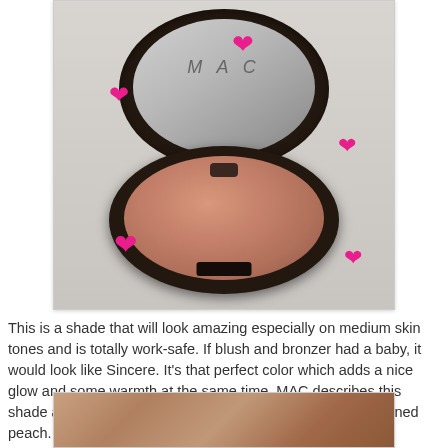[Figure (photo): MAC cosmetics blush compact open showing a muted beige/coral powder pan, with the mirror lid open and pink heart decorations overlaid on the image]
This is a shade that will look amazing especially on medium skin tones and is totally work-safe. If blush and bronzer had a baby, it would look like Sincere. It's that perfect color which adds a nice glow and some warmth at the same time. MAC describes this shade as a Muted Beige/Coral. I would say it's more of a tanned peach.
[Figure (photo): Close-up photo of a hand showing blush swatched on skin]